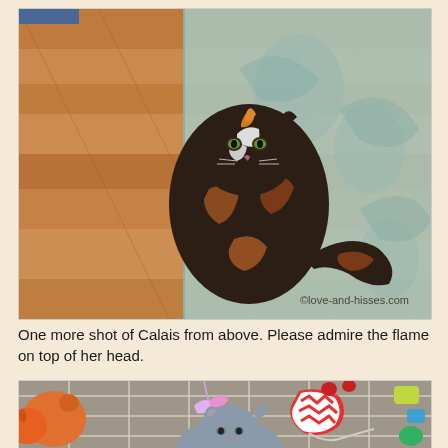[Figure (photo): Overhead shot of a tortoiseshell cat (Calais) sitting on a decorative rug on a hardwood floor, looking upward at the camera. The cat has dark fur with orange flame markings on top of its head. A watermark reads ©love-and-hisses.com in the lower right.]
One more shot of Calais from above. Please admire the flame on top of her head.
[Figure (photo): Overhead shot of a gray kitten on a plaid blanket surrounded by colorful cat toys including stuffed animals, toy mice, and ribbons.]